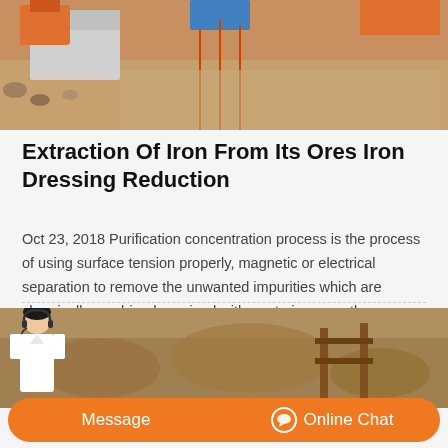[Figure (photo): Aerial or elevated view of a construction/mining site with concrete blocks, orange equipment, machinery, and brown soil/earth.]
Extraction Of Iron From Its Ores Iron Dressing Reduction
Oct 23, 2018 Purification concentration process is the process of using surface tension properly, magnetic or electrical separation to remove the unwanted impurities which are chemically combined or mixed with ore to increase the percentage of iron in the ore. Ore dressing process is also carried out to improve the chemical properties of ores by roasting, It means heating the substance…
[Figure (photo): Mining/excavation site with rocky terrain and a customer service representative woman in white uniform with headset overlaid on the image, above two orange call-to-action buttons labeled 'Message' and 'Online Chat'.]